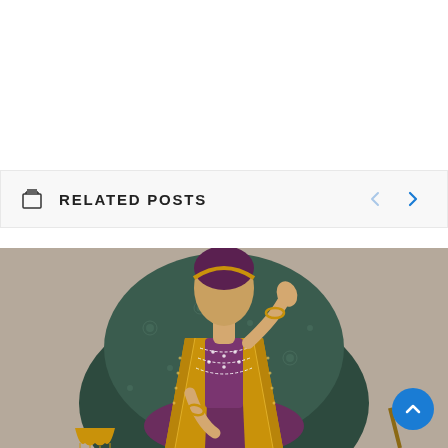RELATED POSTS
[Figure (illustration): Mughal miniature painting of a seated noblewoman in a purple outfit with gold-bordered jacket, pearl necklaces, gold bangles, seated on a dark green cushioned seat against a taupe background.]